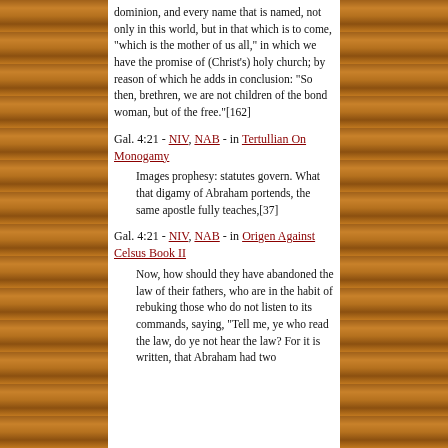dominion, and every name that is named, not only in this world, but in that which is to come, "which is the mother of us all," in which we have the promise of (Christ's) holy church; by reason of which he adds in conclusion: "So then, brethren, we are not children of the bond woman, but of the free."[162]
Gal. 4:21 - NIV, NAB - in Tertullian On Monogamy
Images prophesy: statutes govern. What that digamy of Abraham portends, the same apostle fully teaches,[37]
Gal. 4:21 - NIV, NAB - in Origen Against Celsus Book II
Now, how should they have abandoned the law of their fathers, who are in the habit of rebuking those who do not listen to its commands, saying, "Tell me, ye who read the law, do ye not hear the law? For it is written, that Abraham had two